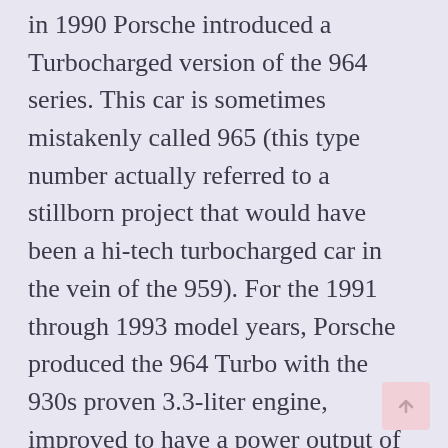in 1990 Porsche introduced a Turbocharged version of the 964 series. This car is sometimes mistakenly called 965 (this type number actually referred to a stillborn project that would have been a hi-tech turbocharged car in the vein of the 959). For the 1991 through 1993 model years, Porsche produced the 964 Turbo with the 930s proven 3.3-liter engine, improved to have a power output of 320 hp. 1994 brought the Carrera 2/4's 3.6 L engine, now in turbocharged form and sending a staggering 355 hp to the rear wheels. With the 993 on the way, this car was only produced through 1994 and remains rather rare.